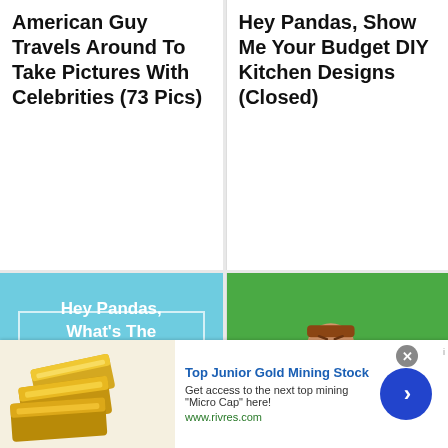American Guy Travels Around To Take Pictures With Celebrities (73 Pics)
Hey Pandas, Show Me Your Budget DIY Kitchen Designs (Closed)
[Figure (illustration): Teal/light blue card with white border and white bold text reading: Hey Pandas, What's The Funniest Thing You've Ever Overheard?]
[Figure (photo): Paper art scene with green background showing a cartoon/paper figure of Ron Swanson sitting at a desk with a name placard reading RON SWANSO, a monitor showing a hot dog, and a speaker on the right.]
Hey Pandas, What's The Funniest Thing You've Ever Overheard? (Closed)
I Used Paper Art To Create The Characters Of Popular TV Shows (31 Pics)
[Figure (other): Advertisement banner: gold bars image on left, text 'Top Junior Gold Mining Stock - Get access to the next top mining Micro Cap here! www.rivres.com', blue circular arrow button on right, close X button top right.]